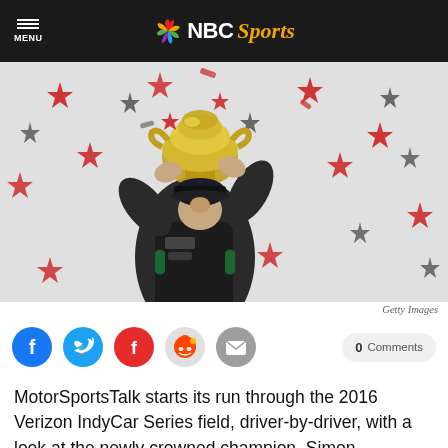NBC Sports
[Figure (photo): Racing driver kissing a large trophy while surrounded by red and black star-shaped confetti. Driver wears a black racing suit with sponsor logos and a cap.]
Getty Images
[Figure (infographic): Social sharing icons: Facebook, Twitter, Flipboard, Reddit, Email. Comment count: 0 Comments.]
MotorSportsTalk starts its run through the 2016 Verizon IndyCar Series field, driver-by-driver, with a look at the newly crowned champion, Simon Pagenaud.